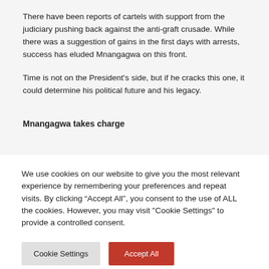There have been reports of cartels with support from the judiciary pushing back against the anti-graft crusade. While there was a suggestion of gains in the first days with arrests, success has eluded Mnangagwa on this front.
Time is not on the President's side, but if he cracks this one, it could determine his political future and his legacy.
Mnangagwa takes charge
We use cookies on our website to give you the most relevant experience by remembering your preferences and repeat visits. By clicking “Accept All”, you consent to the use of ALL the cookies. However, you may visit "Cookie Settings" to provide a controlled consent.
Cookie Settings | Accept All